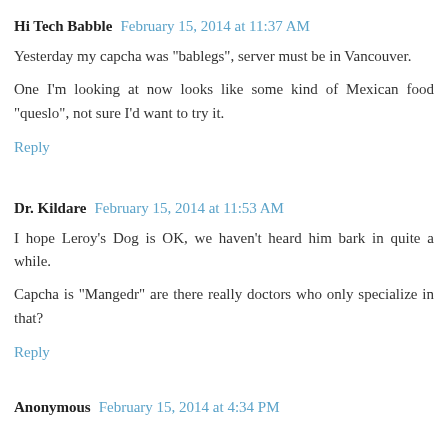Hi Tech Babble  February 15, 2014 at 11:37 AM
Yesterday my capcha was "bablegs", server must be in Vancouver.
One I'm looking at now looks like some kind of Mexican food "queslo", not sure I'd want to try it.
Reply
Dr. Kildare  February 15, 2014 at 11:53 AM
I hope Leroy's Dog is OK, we haven't heard him bark in quite a while.
Capcha is "Mangedr" are there really doctors who only specialize in that?
Reply
Anonymous  February 15, 2014 at 4:34 PM